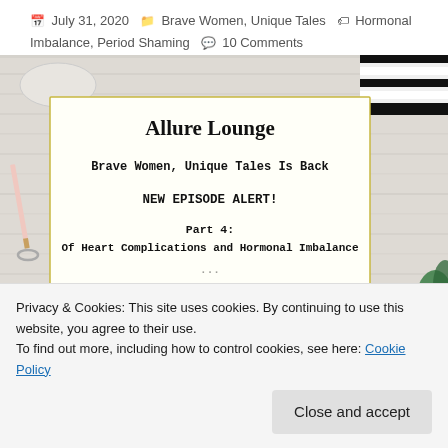July 31, 2020  Brave Women, Unique Tales  Hormonal Imbalance, Period Shaming  10 Comments
[Figure (photo): Blog post card overlay on a desk background with stationery items (pencil, clips, notebook). Card reads: Allure Lounge / Brave Women, Unique Tales Is Back / NEW EPISODE ALERT! / Part 4: Of Heart Complications and Hormonal Imbalance]
Privacy & Cookies: This site uses cookies. By continuing to use this website, you agree to their use.
To find out more, including how to control cookies, see here: Cookie Policy
Close and accept